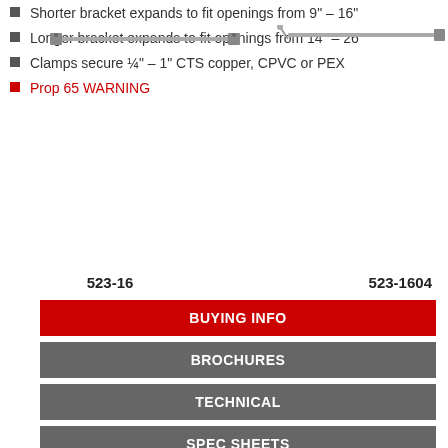Shorter bracket expands to fit openings from 9" – 16"
Longer bracket expands to fit openings from 14" – 26"
Clamps secure ¼" – 1" CTS copper, CPVC or PEX
Prop 65 WARNING
[Figure (photo): Photo of a short expansion bracket 523-16, a thin horizontal metal bar with mounting tabs at each end]
523-16
[Figure (photo): Photo of a longer expansion bracket 523-1604, a longer thin horizontal metal bar with mounting tab at one end]
523-1604
BUYING INFO
BROCHURES
TECHNICAL
SPEC SHEETS
VIDEO